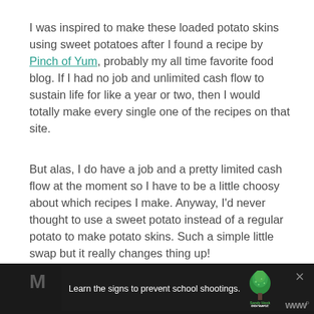I was inspired to make these loaded potato skins using sweet potatoes after I found a recipe by Pinch of Yum, probably my all time favorite food blog. If I had no job and unlimited cash flow to sustain life for like a year or two, then I would totally make every single one of the recipes on that site.
But alas, I do have a job and a pretty limited cash flow at the moment so I have to be a little choosy about which recipes I make. Anyway, I'd never thought to use a sweet potato instead of a regular potato to make potato skins. Such a simple little swap but it really changes thing up!
[Figure (other): Advertisement banner for Sandy Hook Promise: 'Learn the signs to prevent school shootings.' with tree logo]